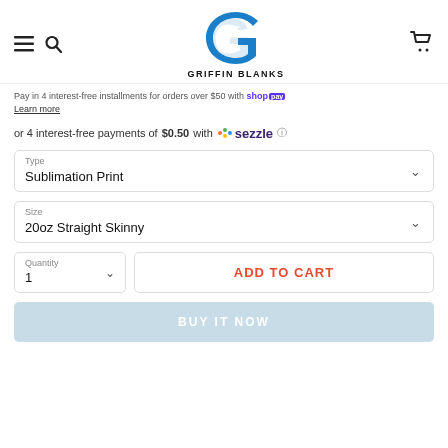Griffin Blanks - store header with navigation icons and logo
Pay in 4 interest-free installments for orders over $50 with Shop Pay. Learn more
or 4 interest-free payments of $0.50 with Sezzle
Type: Sublimation Print
Size: 20oz Straight Skinny
Quantity: 1
ADD TO CART
BUY IT NOW